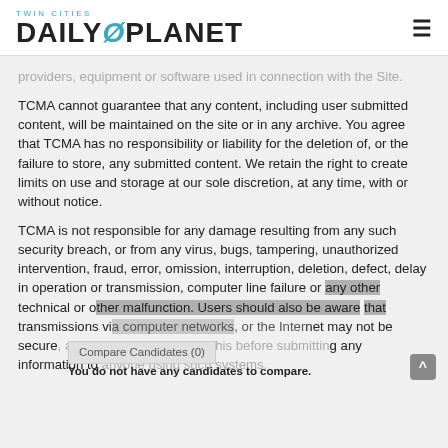TWIN CITIES DAILY PLANET
providers, equipment or software used in connection with the Site.
TCMA cannot guarantee that any content, including user submitted content, will be maintained on the site or in any archive. You agree that TCMA has no responsibility or liability for the deletion of, or the failure to store, any submitted content. We retain the right to create limits on use and storage at our sole discretion, at any time, with or without notice.
TCMA is not responsible for any damage resulting from any such security breach, or from any virus, bugs, tampering, unauthorized intervention, fraud, error, omission, interruption, deletion, defect, delay in operation or transmission, computer line failure or any other technical or other malfunction. Users should also be aware that transmissions via computer networks, or the Internet may not be secure, and you should consider this before submitting any information to anyone using such systems.
Compare Candidates (0)
You do not have any candidates to compare.